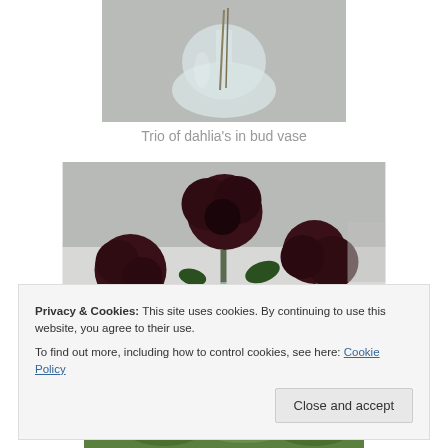[Figure (photo): Close-up of a clear glass bud vase with dried stems inside, shot on a grey surface]
Trio of dahlia's in bud vase
[Figure (photo): Dark red roses and dahlias arranged in glass bud vases on a white-covered table in a tent setting]
Privacy & Cookies: This site uses cookies. By continuing to use this website, you agree to their use.
To find out more, including how to control cookies, see here: Cookie Policy
[Figure (photo): Partial view of green flowers/plants at bottom of page]